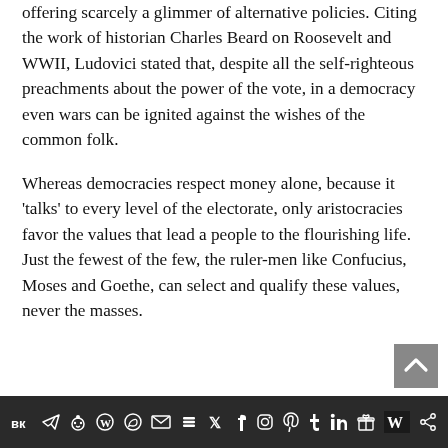offering scarcely a glimmer of alternative policies. Citing the work of historian Charles Beard on Roosevelt and WWII, Ludovici stated that, despite all the self-righteous preachments about the power of the vote, in a democracy even wars can be ignited against the wishes of the common folk.
Whereas democracies respect money alone, because it ‘talks’ to every level of the electorate, only aristocracies favor the values that lead a people to the flourishing life. Just the fewest of the few, the ruler-men like Confucius, Moses and Goethe, can select and qualify these values, never the masses.
[social media icons bar]